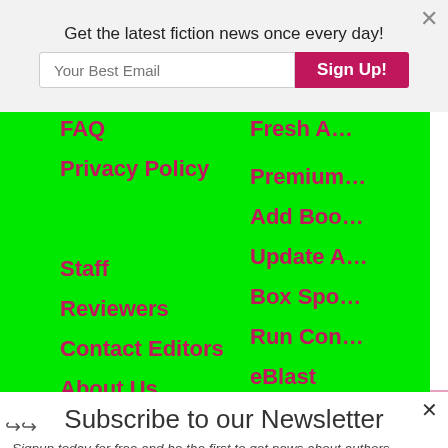Get the latest fiction news once every day!
Your Best Email
Sign Up!
FAQ
Privacy Policy
Staff
Reviewers
Contact Editors
About Us
Contact Us
Fresh A…
Premium…
Add Boo…
Update A…
Box Spo…
Run Con…
eBlast
eMail Ma…
Attend Ev…
Subscribe to our Newsletter
Signup today for free and be the first to get news about authors…